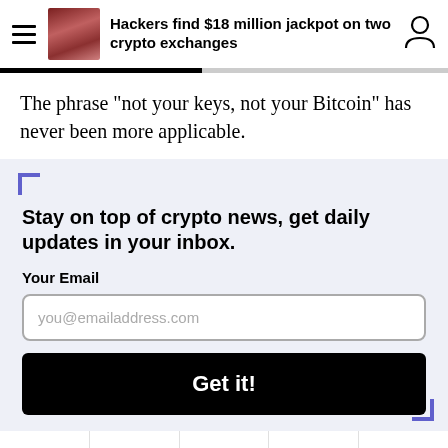Hackers find $18 million jackpot on two crypto exchanges
The phrase "not your keys, not your Bitcoin" has never been more applicable.
Stay on top of crypto news, get daily updates in your inbox.
Your Email
you@emailaddress.com
Get it!